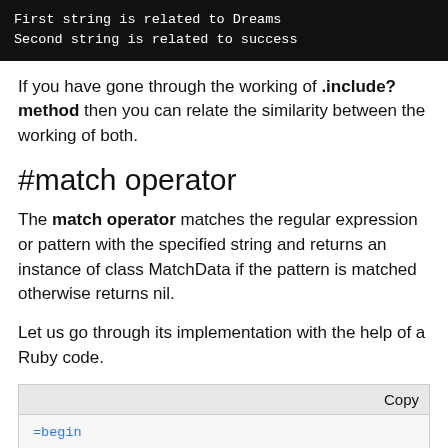[Figure (screenshot): Terminal output showing: First string is related to Dreams / Second string is related to success]
If you have gone through the working of .include? method then you can relate the similarity between the working of both.
#match operator
The match operator matches the regular expression or pattern with the specified string and returns an instance of class MatchData if the pattern is matched otherwise returns nil.
Let us go through its implementation with the help of a Ruby code.
[Figure (screenshot): Code box with Copy button and Ruby code starting with =begin]